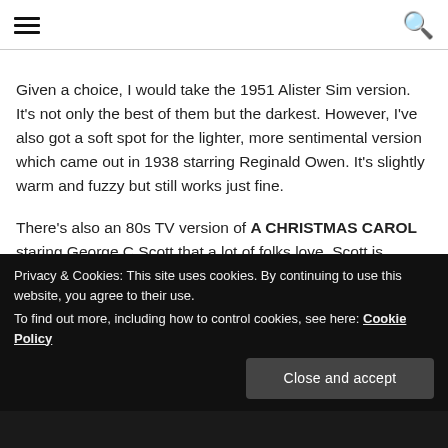Navigation and search icons
Given a choice, I would take the 1951 Alister Sim version. It's not only the best of them but the darkest. However, I've also got a soft spot for the lighter, more sentimental version which came out in 1938 starring Reginald Owen. It's slightly warm and fuzzy but still works just fine.
There's also an 80s TV version of A CHRISTMAS CAROL staring George C Scott that a lot of folks love. Scott is fantastic. But it looks and feels like a TV movie which I can just never get past. For me, the older ones are the
Privacy & Cookies: This site uses cookies. By continuing to use this website, you agree to their use.
To find out more, including how to control cookies, see here: Cookie Policy
Close and accept
[Figure (photo): Dark bottom portion of a photograph visible below the cookie banner]